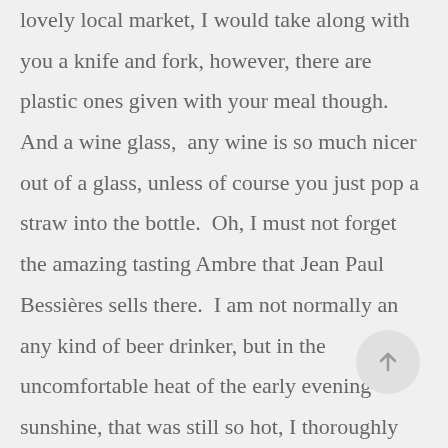lovely local market, I would take along with you a knife and fork, however, there are plastic ones given with your meal though.  And a wine glass,  any wine is so much nicer out of a glass, unless of course you just pop a straw into the bottle.  Oh, I must not forget the amazing tasting Ambre that Jean Paul Bessières sells there.  I am not normally an any kind of beer drinker, but in the uncomfortable heat of the early evening sunshine, that was still so hot, I thoroughly enjoyed a gorgeously